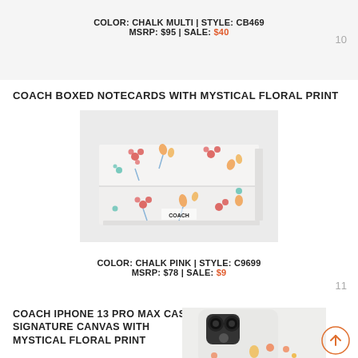COLOR: CHALK MULTI | STYLE: CB469
MSRP: $95 | SALE: $40
10
COACH BOXED NOTECARDS WITH MYSTICAL FLORAL PRINT
[Figure (photo): White box with colorful mystical floral print pattern, Coach branded notecards box]
COLOR: CHALK PINK | STYLE: C9699
MSRP: $78 | SALE: $9
11
COACH IPHONE 13 PRO MAX CASE IN SIGNATURE CANVAS WITH MYSTICAL FLORAL PRINT
[Figure (photo): White iPhone 13 Pro Max case with Coach signature canvas and mystical floral print, showing camera cutout]